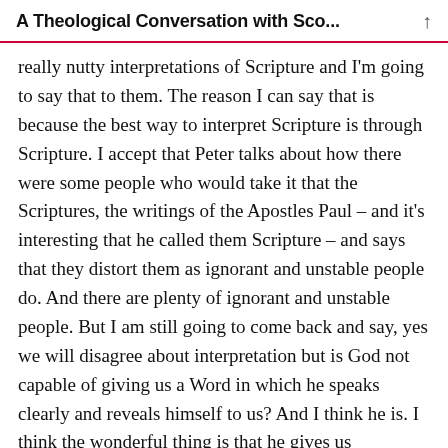A Theological Conversation with Sco...
really nutty interpretations of Scripture and I'm going to say that to them. The reason I can say that is because the best way to interpret Scripture is through Scripture. I accept that Peter talks about how there were some people who would take it that the Scriptures, the writings of the Apostles Paul – and it's interesting that he called them Scripture – and says that they distort them as ignorant and unstable people do. And there are plenty of ignorant and unstable people. But I am still going to come back and say, yes we will disagree about interpretation but is God not capable of giving us a Word in which he speaks clearly and reveals himself to us? And I think he is. I think the wonderful thing is that he gives us